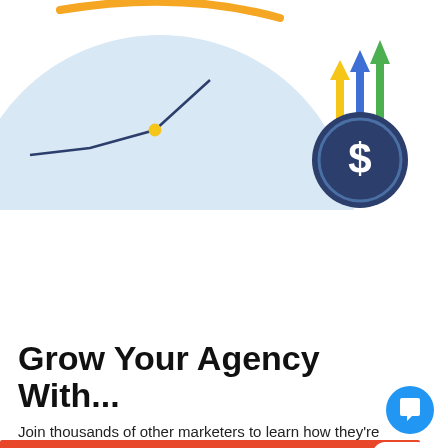[Figure (illustration): Partial illustration showing a line chart with upward trend on a light blue circle background, with colored upward arrows (yellow, blue, green) and a dark blue coin/dollar sign icon on the right side.]
[Figure (screenshot): Red promotional banner partially visible with white text 'TAKE YO...' and a close button. A chat bubble overlay shows a woman's avatar photo and the text 'Hi there! Have a question? Text us here.']
Grow Your Agency With...
Join thousands of other marketers to learn how they're successful and growing their agency with HighLevel...and how you can do the same too.